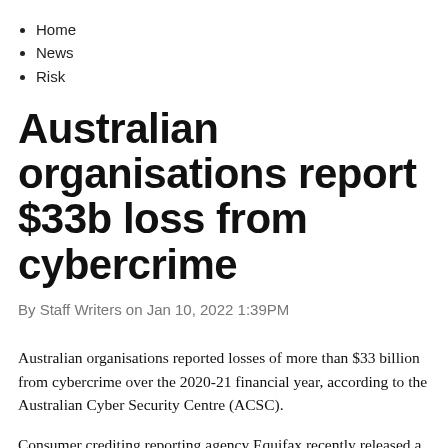Home
News
Risk
Australian organisations report $33b loss from cybercrime
By Staff Writers on Jan 10, 2022 1:39PM
Australian organisations reported losses of more than $33 billion from cybercrime over the 2020-21 financial year, according to the Australian Cyber Security Centre (ACSC).
Consumer crediting reporting agency Equifax recently released a